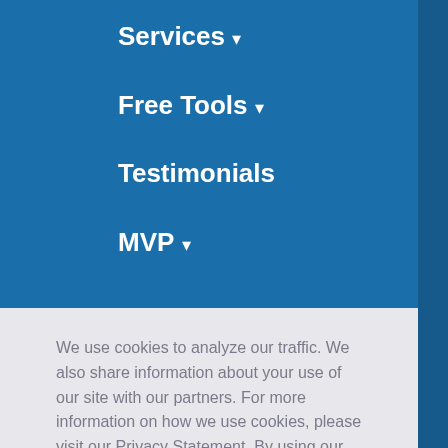Services ▾
Free Tools ▾
Testimonials
MVP ▾
We use cookies to analyze our traffic. We also share information about your use of our site with our partners. For more information on how we use cookies, please visit our Privacy Statement. By using our website, you acknowledge this notice of our cookie practices.  Learn more
Decline | Allow cookies
[Figure (logo): Modelmetrics logo with arrow icon]